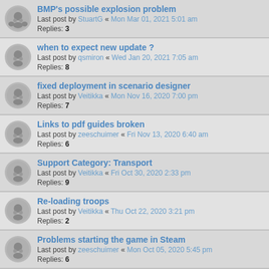BMP's possible explosion problem
Last post by StuartG « Mon Mar 01, 2021 5:01 am
Replies: 3
when to expect new update ?
Last post by qsmiron « Wed Jan 20, 2021 7:05 am
Replies: 8
fixed deployment in scenario designer
Last post by Veitikka « Mon Nov 16, 2020 7:00 pm
Replies: 7
Links to pdf guides broken
Last post by zeeschuimer « Fri Nov 13, 2020 6:40 am
Replies: 6
Support Category: Transport
Last post by Veitikka « Fri Oct 30, 2020 2:33 pm
Replies: 9
Re-loading troops
Last post by Veitikka « Thu Oct 22, 2020 3:21 pm
Replies: 2
Problems starting the game in Steam
Last post by zeeschuimer « Mon Oct 05, 2020 5:45 pm
Replies: 6
Light mortar bug?
Last post by nikolas93TS « Thu Aug 20, 2020 10:46 am
Replies: 2
Performance issue
Last post by ReginaldoVitt « Wed Aug 12, 2020 9:50 pm
Replies: 10
Units clipping
Last post by nikolas93TS « Sat Jun 27, 2020 7:49 pm